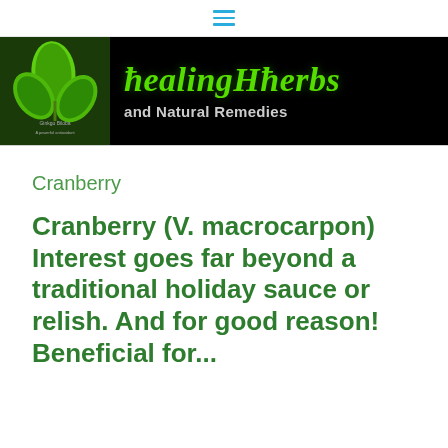≡ (navigation menu icon)
[Figure (logo): Healing Herbs and Natural Remedies website banner with green ginkgo leaf image on black background and green stylized text 'healingHerbs and Natural Remedies']
Cranberry
Cranberry (V. macrocarpon) Interest goes far beyond a traditional holiday sauce or relish. And for good reason!
Beneficial for...